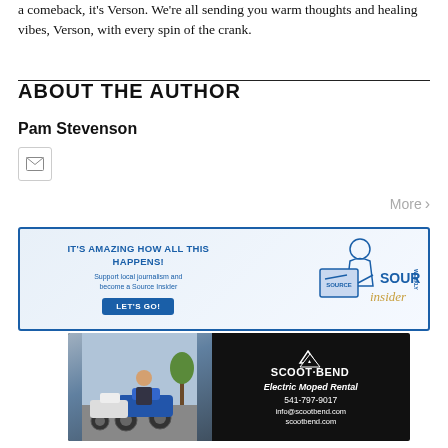a comeback, it's Verson. We're all sending you warm thoughts and healing vibes, Verson, with every spin of the crank.
ABOUT THE AUTHOR
Pam Stevenson
[Figure (illustration): Email/envelope icon inside a bordered square button]
More >
[Figure (illustration): Source Weekly Insider advertisement banner: IT'S AMAZING HOW ALL THIS HAPPENS! Support local journalism and become a Source Insider. LET'S GO! With illustration of person reading Source Weekly magazine.]
[Figure (illustration): Scoot Bend Electric Moped Rental advertisement with photo of scooters and contact info: 541-797-9017, info@scootbend.com, scootbend.com]